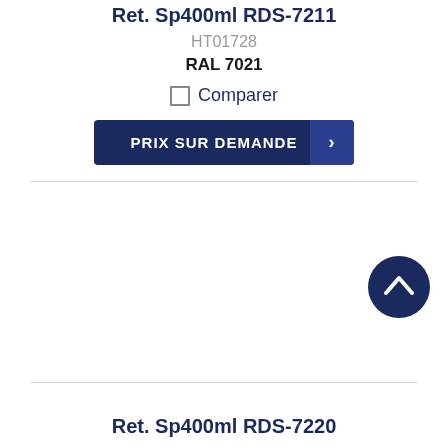Ret. Sp400ml RDS-7211
HT01728
RAL 7021
Comparer
PRIX SUR DEMANDE
Ret. Sp400ml RDS-7220